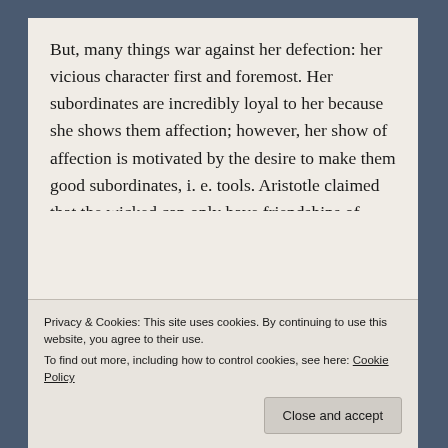But, many things war against her defection: her vicious character first and foremost.  Her subordinates are incredibly loyal to her because she shows them affection; however, her show of affection is motivated by the desire to make them good subordinates, i. e. tools.  Aristotle claimed that the wicked can only have friendships of utility, and all of Esdese's relationships belong to that category.  Her relationship with Tatsumi stands as the sole exception, but if she begins to view her relationship with Tatsumi according to usefulness or pleasure, that will shatter her ability
Privacy & Cookies: This site uses cookies. By continuing to use this website, you agree to their use.
To find out more, including how to control cookies, see here: Cookie Policy
Close and accept